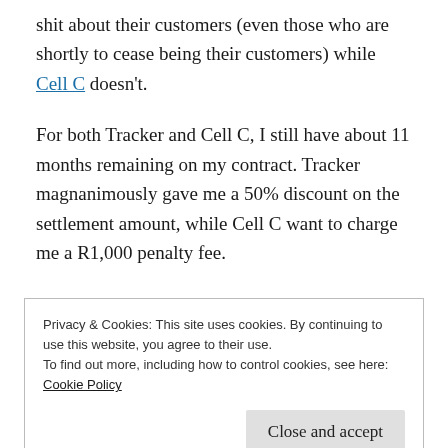shit about their customers (even those who are shortly to cease being their customers) while Cell C doesn't.
For both Tracker and Cell C, I still have about 11 months remaining on my contract. Tracker magnanimously gave me a 50% discount on the settlement amount, while Cell C want to charge me a R1,000 penalty fee.
Privacy & Cookies: This site uses cookies. By continuing to use this website, you agree to their use.
To find out more, including how to control cookies, see here:
Cookie Policy
Close and accept